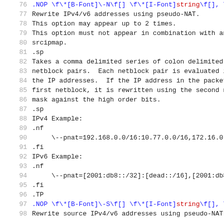76  .NOP \f\*[B-Font]\-N\f[] \f\*[I-Font]string\f[], \f\...
77  Rewrite IPv4/v6 addresses using pseudo-NAT.
78  This option may appear up to 2 times.
79  This option must not appear in combination with any o...
80  srcipmap.
81  .sp
82  Takes a comma delimited series of colon delimited CID...
83  netblock pairs.  Each netblock pair is evaluated in o...
84  the IP addresses.  If the IP address in the packet ma...
85  first netblock, it is rewritten using the second netb...
86  mask against the high order bits.
87  .sp
88  IPv4 Example:
89  .nf
90      \--pnat=192.168.0.0/16:10.77.0.0/16,172.16.0.0/12...
91  .fi
92  IPv6 Example:
93  .nf
94      \--pnat=[2001:db8::/32]:[dead::/16],[2001:db8::/3...
95  .fi
96  .TP
97  .NOP \f\*[B-Font]\-S\f[] \f\*[I-Font]string\f[], \f\...
98  Rewrite source IPv4/v6 addresses using pseudo-NAT.